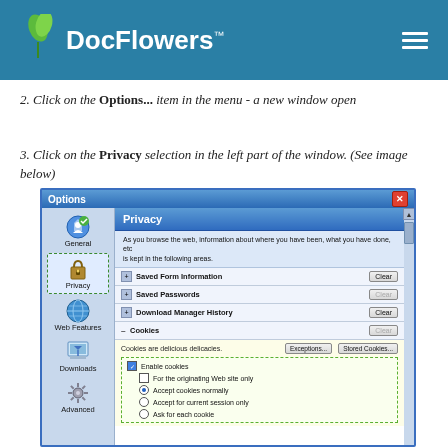[Figure (logo): DocFlowers logo with green leaves and white text on teal blue header bar, with hamburger menu icon on right]
2. Click on the Options... item in the menu - a new window open
3. Click on the Privacy selection in the left part of the window. (See image below)
[Figure (screenshot): Firefox Options dialog screenshot showing Privacy section selected in left panel. Right panel shows Privacy header with sections for Saved Form Information, Saved Passwords, Download Manager History, and Cookies. The Cookies section is expanded showing options: Enable cookies checkbox (checked), For the originating Web site only, Accept cookies normally (selected), Accept for current session only, Ask for each cookie. Cookie options enclosed in green dashed border.]